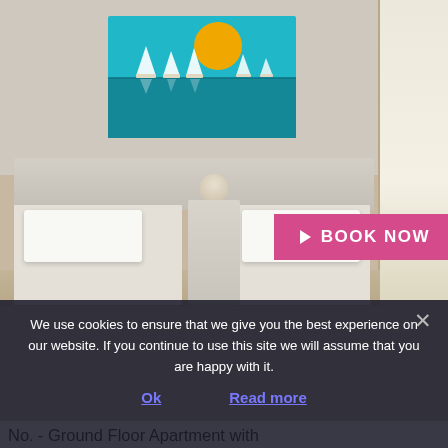[Figure (photo): Hotel/apartment bedroom with two single beds with white pillows, white headboard, nightstand with lamp, and a colorful painting of sailboats on turquoise sea with yellow sun on the wall above. Window with curtains visible on right side.]
▶ BOOK NOW
We use cookies to ensure that we give you the best experience on our website. If you continue to use this site we will assume that you are happy with it.
Ok
Read more
No. - Ground Floor Apartment with